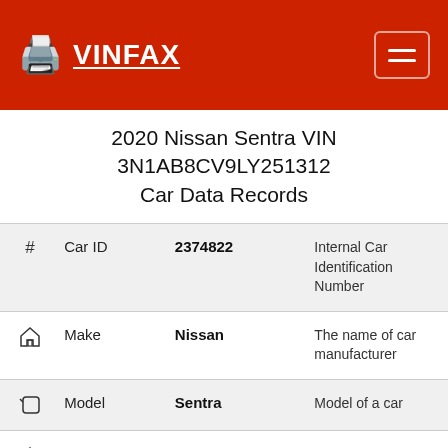VINFAX
2020 Nissan Sentra VIN 3N1AB8CV9LY251312 Car Data Records
| # | Field | Value | Description |
| --- | --- | --- | --- |
| # | Car ID | 2374822 | Internal Car Identification Number |
| 🏠 | Make | Nissan | The name of car manufacturer |
| 🏷 | Model | Sentra | Model of a car |
| △ | Trim | SV FWD | Car Trim |